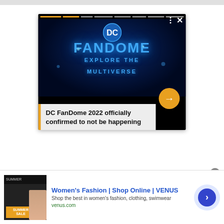[Figure (screenshot): DC FanDome 2022 video player card showing 'FANDOME EXPLORE THE MULTIVERSE' text in glowing blue on black background, with a yellow arrow button and title overlay reading 'DC FanDome 2022 officially confirmed to not be happening']
[Figure (screenshot): Advertisement banner for VENUS women's fashion online shop with thumbnail image, blue title text 'Women's Fashion | Shop Online | VENUS', description text, green URL 'venus.com', and blue circular arrow button]